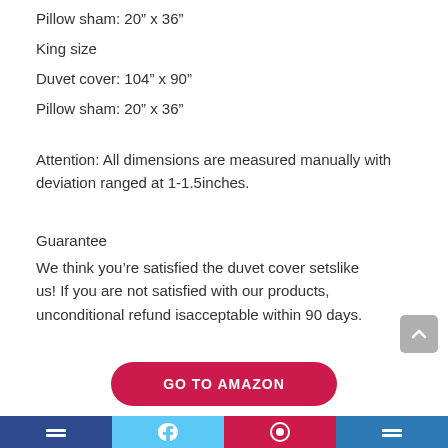Pillow sham: 20” x 36”
King size
Duvet cover: 104” x 90”
Pillow sham: 20” x 36”
Attention:  All dimensions are measured manually with deviation ranged at 1-1.5inches.
Guarantee
We think you’re satisfied the duvet cover setslike us! If you are not satisfied with our products, unconditional refund isacceptable within 90 days.
[Figure (other): GO TO AMAZON button - crimson rounded rectangle button with white bold text]
Social media icons footer bar